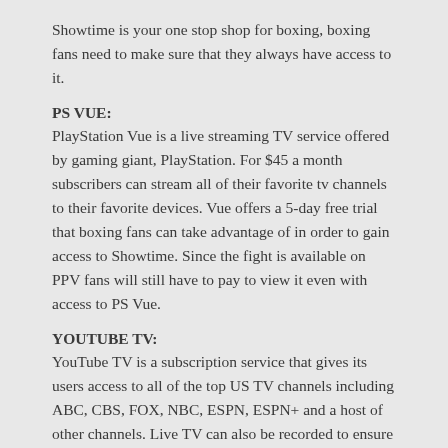Showtime is your one stop shop for boxing, boxing fans need to make sure that they always have access to it.
PS VUE:
PlayStation Vue is a live streaming TV service offered by gaming giant, PlayStation. For $45 a month subscribers can stream all of their favorite tv channels to their favorite devices. Vue offers a 5-day free trial that boxing fans can take advantage of in order to gain access to Showtime. Since the fight is available on PPV fans will still have to pay to view it even with access to PS Vue.
YOUTUBE TV:
YouTube TV is a subscription service that gives its users access to all of the top US TV channels including ABC, CBS, FOX, NBC, ESPN, ESPN+ and a host of other channels. Live TV can also be recorded to ensure that you never miss a moment of the action. If you plan on subscribing to YouTube TV make sure that Showtime is